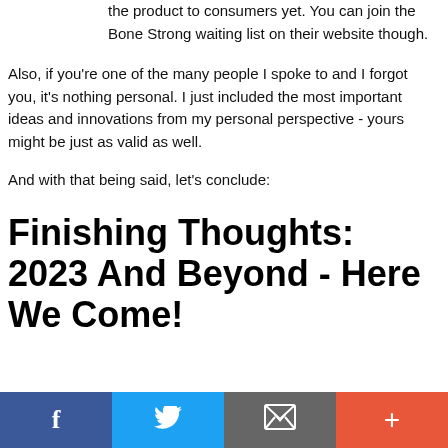the product to consumers yet. You can join the Bone Strong waiting list on their website though.
Also, if you're one of the many people I spoke to and I forgot you, it's nothing personal. I just included the most important ideas and innovations from my personal perspective - yours might be just as valid as well.
And with that being said, let's conclude:
Finishing Thoughts: 2023 And Beyond - Here We Come!
Social share bar: Facebook, Twitter, Email, Plus